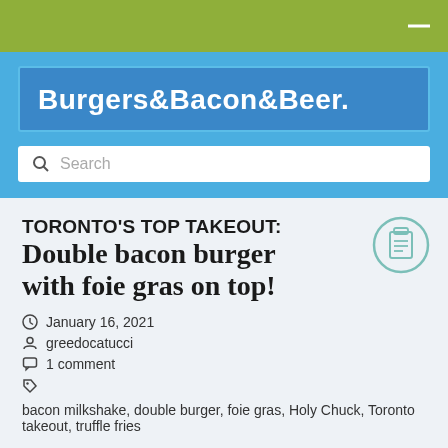Burgers&Bacon&Beer.
TORONTO'S TOP TAKEOUT: Double bacon burger with foie gras on top!
January 16, 2021
greedocatucci
1 comment
bacon milkshake, double burger, foie gras, Holy Chuck, Toronto takeout, truffle fries